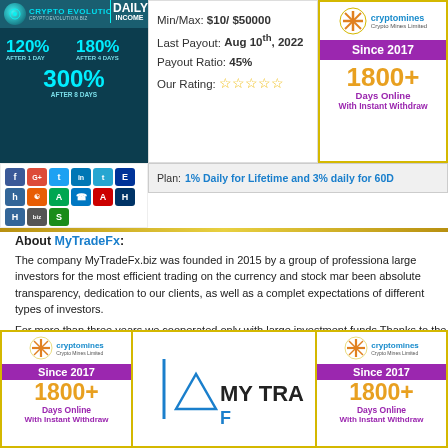[Figure (advertisement): Crypto Evolution ad banner: teal/dark background with 120% after 1 day, 180% after 4 days, 300% after 8 days returns]
Min/Max: $10/ $50000
Last Payout: Aug 10th, 2022
Payout Ratio: 45%
Our Rating: ☆☆☆☆☆
[Figure (advertisement): CryptoMines Crypto Mines Limited ad — Since 2017, 1800+ Days Online, With Instant Withdraw]
[Figure (infographic): Social media and payment icons row]
Plan: 1% Daily for Lifetime and 3% daily for 60D
About MyTradeFx:
The company MyTradeFx.biz was founded in 2015 by a group of professional large investors for the most efficient trading on the currency and stock mar... been absolute transparency, dedication to our clients, as well as a complet... expectations of different types of investors.
For more than three years we cooperated only with large investment funds Thanks to the trust of such important for FOREX markets players to our co... the beginning of 2018 we began to d...
[Figure (advertisement): CryptoMines bottom left ad — Since 2017, 1800+ Days Online, With Instant Withdraw]
[Figure (logo): MyTradeFx logo — triangle icon with MY TRADEF text]
[Figure (advertisement): CryptoMines bottom right ad — Since 2017, 1800+ Days Online, With Instant Withdraw]